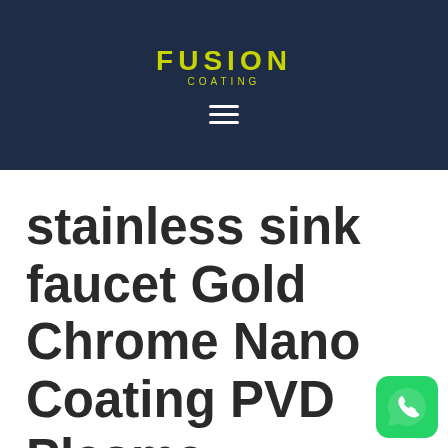FUSION COATING
stainless sink faucet Gold Chrome Nano Coating PVD Plasma Furniture Cutlery Hardware Surgical Coating Service in
[Figure (logo): WhatsApp contact button icon, green rounded square with white phone handset icon]